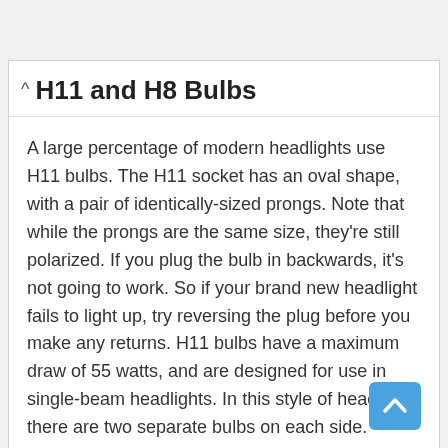H11 and H8 Bulbs
A large percentage of modern headlights use H11 bulbs. The H11 socket has an oval shape, with a pair of identically-sized prongs. Note that while the prongs are the same size, they're still polarized. If you plug the bulb in backwards, it's not going to work. So if your brand new headlight fails to light up, try reversing the plug before you make any returns. H11 bulbs have a maximum draw of 55 watts, and are designed for use in single-beam headlights. In this style of headlight, there are two separate bulbs on each side. There's one for the high beam, and one for the low beam.